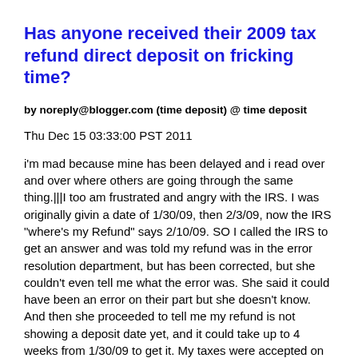Has anyone received their 2009 tax refund direct deposit on fricking time?
by noreply@blogger.com (time deposit) @ time deposit
Thu Dec 15 03:33:00 PST 2011
i'm mad because mine has been delayed and i read over and over where others are going through the same thing.|||I too am frustrated and angry with the IRS. I was originally givin a date of 1/30/09, then 2/3/09, now the IRS "where's my Refund" says 2/10/09. SO I called the IRS to get an answer and was told my refund was in the error resolution department, but has been corrected, but she couldn't even tell me what the error was. She said it could have been an error on their part but she doesn't know. And then she proceeded to tell me my refund is not showing a deposit date yet, and it could take up to 4 weeks from 1/30/09 to get it. My taxes were accepted on 1/20/09, but they didn't catch this so called mistake til 1/30/09, this is BS! The women from the IRS...